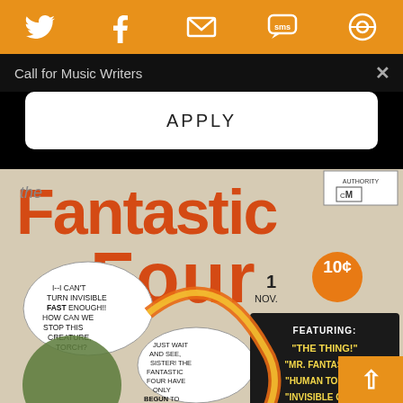[Figure (screenshot): Orange social media share bar with Twitter, Facebook, Email, SMS, and another icon]
Call for Music Writers
APPLY
[Figure (photo): Fantastic Four #1 comic book cover showing The Thing, Human Torch, Mr. Fantastic, and Invisible Girl. Speech bubbles read: 'I--I can't turn invisible FAST enough!! How can we stop this creature, Torch?' and 'Just wait and see, sister! The Fantastic Four have only BEGUN to fight!' Featuring box lists: The Thing!, Mr. Fantastic!, Human Torch!, Invisible Girl! Together for the first time in one mighty magazine! Issue #1, Nov, 10 cents.]